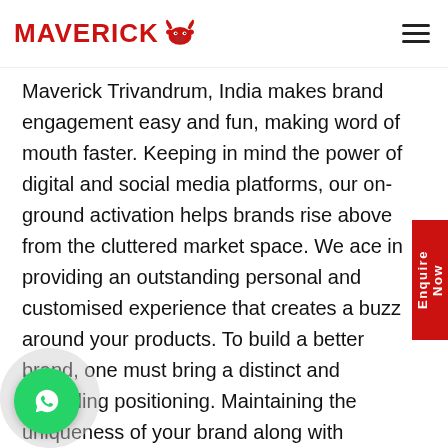MAVERICK [bull logo]
Maverick Trivandrum, India makes brand engagement easy and fun, making word of mouth faster. Keeping in mind the power of digital and social media platforms, our on-ground activation helps brands rise above from the cluttered market space. We ace in providing an outstanding personal and customised experience that creates a buzz around your products. To build a better brand, one must bring a distinct and appealing positioning. Maintaining the uniqueness of your brand along with amplification of brand identity is what our clients expect and we excel at this.